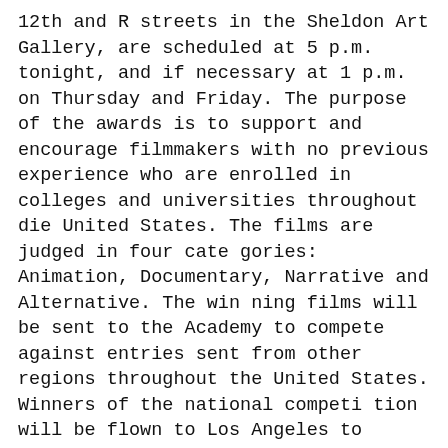12th and R streets in the Sheldon Art Gallery, are scheduled at 5 p.m. tonight, and if necessary at 1 p.m. on Thursday and Friday.
The purpose of the awards is to support and encourage filmmakers with no previous experience who are enrolled in colleges and universities throughout die United States.
The films are judged in four cate gories: Animation, Documentary, Narrative and Alternative. The win ning films will be sent to the Academy to compete against entries sent from other regions throughout the United States.
Winners of the national competi tion will be flown to Los Angeles to participate in an intensive week of industry activities and...